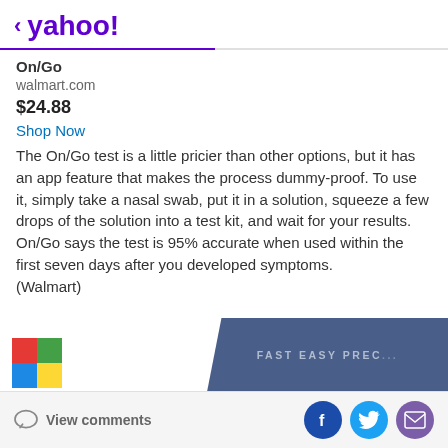< yahoo!
On/Go
walmart.com
$24.88
Shop Now
The On/Go test is a little pricier than other options, but it has an app feature that makes the process dummy-proof. To use it, simply take a nasal swab, put it in a solution, squeeze a few drops of the solution into a test kit, and wait for your results. On/Go says the test is 95% accurate when used within the first seven days after you developed symptoms.
(Walmart)
[Figure (photo): Partial product image of On/Go COVID test box with text FAST EASY PREC... visible on a blue/navy background]
View comments | Facebook | Twitter | Mail